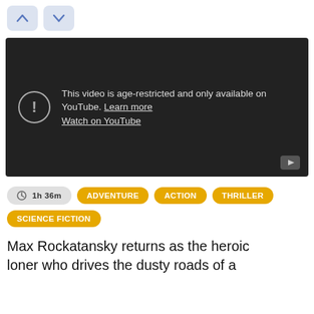[Figure (screenshot): Navigation up/down arrow buttons in light blue rounded rectangles]
[Figure (screenshot): YouTube age-restricted video embed showing dark background with exclamation circle icon and message: 'This video is age-restricted and only available on YouTube. Learn more. Watch on YouTube.' YouTube play button icon in bottom right corner.]
1h 36m  ADVENTURE  ACTION  THRILLER  SCIENCE FICTION
Max Rockatansky returns as the heroic loner who drives the dusty roads of a